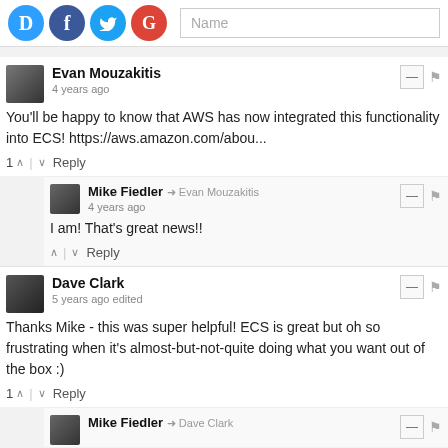[Figure (screenshot): Social login icons (Disqus D, Facebook f, Twitter bird, Google G) and a Name input field]
Evan Mouzakitis
4 years ago
You'll be happy to know that AWS has now integrated this functionality into ECS! https://aws.amazon.com/abou...
1 ^ | v Reply
Mike Fiedler → Evan Mouzakitis
4 years ago
I am! That's great news!!
^ | v Reply
Dave Clark
5 years ago edited
Thanks Mike - this was super helpful! ECS is great but oh so frustrating when it's almost-but-not-quite doing what you want out of the box :)
1 ^ | v Reply
Mike Fiedler → Dave Clark